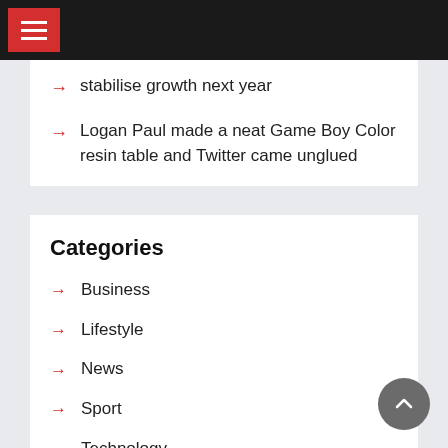Navigation bar with hamburger menu
stabilise growth next year
Logan Paul made a neat Game Boy Color resin table and Twitter came unglued
Categories
Business
Lifestyle
News
Sport
Technology